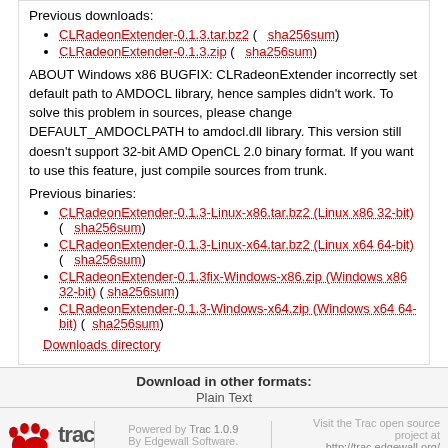Previous downloads:
CLRadeonExtender-0.1.3.tar.bz2 ( sha256sum)
CLRadeonExtender-0.1.3.zip ( sha256sum)
ABOUT Windows x86 BUGFIX: CLRadeonExtender incorrectly set default path to AMDOCL library, hence samples didn't work. To solve this problem in sources, please change DEFAULT_AMDOCLPATH to amdocl.dll library. This version still doesn't support 32-bit AMD OpenCL 2.0 binary format. If you want to use this feature, just compile sources from trunk.
Previous binaries:
CLRadeonExtender-0.1.3-Linux-x86.tar.bz2 (Linux x86 32-bit) ( sha256sum)
CLRadeonExtender-0.1.3-Linux-x64.tar.bz2 (Linux x64 64-bit) ( sha256sum)
CLRadeonExtender-0.1.3fix-Windows-x86.zip (Windows x86 32-bit) ( sha256sum)
CLRadeonExtender-0.1.3-Windows-x64.zip (Windows x64 64-bit) ( sha256sum)
Downloads directory
Download in other formats:
Plain Text
Powered by Trac 1.0.9 By Edgewall Software. Visit the Trac open source project at http://trac.edgewall.org/